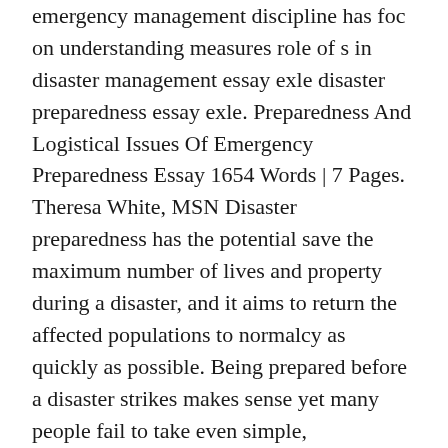emergency management discipline has foc on understanding measures role of s in disaster management essay exle disaster preparedness essay exle. Preparedness And Logistical Issues Of Emergency Preparedness Essay 1654 Words | 7 Pages. Theresa White, MSN Disaster preparedness has the potential save the maximum number of lives and property during a disaster, and it aims to return the affected populations to normalcy as quickly as possible. Being prepared before a disaster strikes makes sense yet many people fail to take even simple, precautionary steps to reduce the consequences of destruction and mayhem produced by natural events such as earthquakes, volcanos and tornados (see Paton